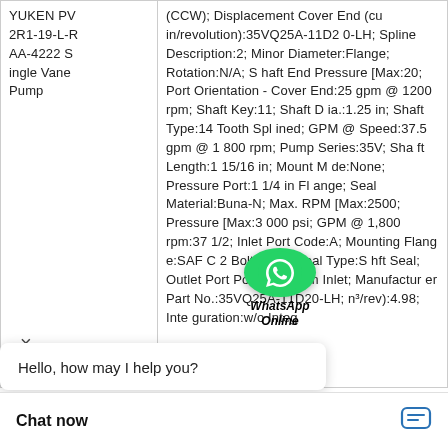| Product | Specifications |
| --- | --- |
| YUKEN PV2R1-19-L-RAA-4222 Single Vane Pump | (CCW); Displacement Cover End (cu in/revolution):35VQ25A-11D20-LH; Spline Description:2; Minor Diameter:Flange; Rotation:N/A; Shaft End Pressure [Max:20; Port Orientation - Cover End:25 gpm @ 1200 rpm; Shaft Key:11; Shaft Dia.:1.25 in; Shaft Type:14 Tooth Splined; GPM @ Speed:37.5 gpm @ 1800 rpm; Pump Series:35V; Shaft Length:1 15/16 in; Mount Mode:None; Pressure Port:1 1/4 in Flange; Seal Material:Buna-N; Max. RPM [Max:2500; Pressure [Max:3000 psi; GPM @ 1,800 rpm:37 1/2; Inlet Port Code:A; Mounting Flange:SAF C 2 Bolt; Shaft Seal Type:Shaft Seal; Outlet Port Position:CW from Inlet; Manufacturer Part No.:35VQ25A-11D20-LH; (in³/rev):4.98; Inte guration:w/o Integ |
[Figure (logo): WhatsApp Online green circle badge with phone icon and 'WhatsApp Online' italic text]
Hello, how may I help you?
Chat now